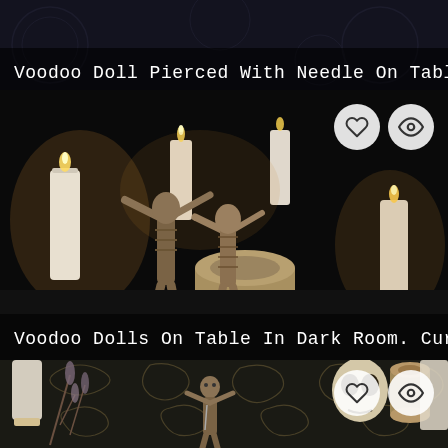[Figure (photo): Dark image of voodoo doll pierced with needle on a table with mystical symbols. Caption overlay at bottom: 'Voodoo Doll Pierced With Needle On Table. Curse ...']
Voodoo Doll Pierced With Needle On Table. Curse ...
[Figure (photo): Photo of two voodoo dolls made of twine/rope sitting on a dark table surrounded by lit candles in a dark room. Heart and eye icon buttons in top right. Caption overlay: 'Voodoo Dolls On Table In Dark Room. Curse Cerem...']
Voodoo Dolls On Table In Dark Room. Curse Cerem...
[Figure (photo): Photo showing a small voodoo doll, herbs, candles, and occult symbols on a dark patterned cloth. Heart and eye icon buttons visible in top right corner.]